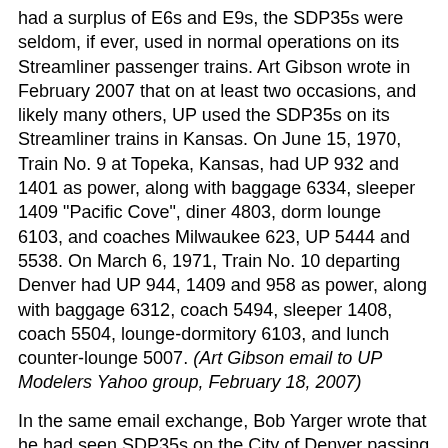had a surplus of E6s and E9s, the SDP35s were seldom, if ever, used in normal operations on its Streamliner passenger trains. Art Gibson wrote in February 2007 that on at least two occasions, and likely many others, UP used the SDP35s on its Streamliner trains in Kansas. On June 15, 1970, Train No. 9 at Topeka, Kansas, had UP 932 and 1401 as power, along with baggage 6334, sleeper 1409 "Pacific Cove", diner 4803, dorm lounge 6103, and coaches Milwaukee 623, UP 5444 and 5538. On March 6, 1971, Train No. 10 departing Denver had UP 944, 1409 and 958 as power, along with baggage 6312, coach 5494, sleeper 1408, coach 5504, lounge-dormitory 6103, and lunch counter-lounge 5007. (Art Gibson email to UP Modelers Yahoo group, February 18, 2007)
In the same email exchange, Bob Yarger wrote that he had seen SDP35s on the City of Denver passing through LaSalle, Colorado, in the summer of 1969. (Bob Yarger email to UP Modelers Yahoo group, February 18, 2007)